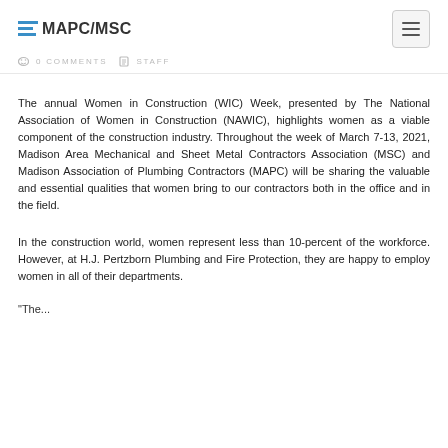MAPC/MSC
0 COMMENTS   STAFF
The annual Women in Construction (WIC) Week, presented by The National Association of Women in Construction (NAWIC), highlights women as a viable component of the construction industry. Throughout the week of March 7-13, 2021, Madison Area Mechanical and Sheet Metal Contractors Association (MSC) and Madison Association of Plumbing Contractors (MAPC) will be sharing the valuable and essential qualities that women bring to our contractors both in the office and in the field.
In the construction world, women represent less than 10-percent of the workforce. However, at H.J. Pertzborn Plumbing and Fire Protection, they are happy to employ women in all of their departments.
“The...